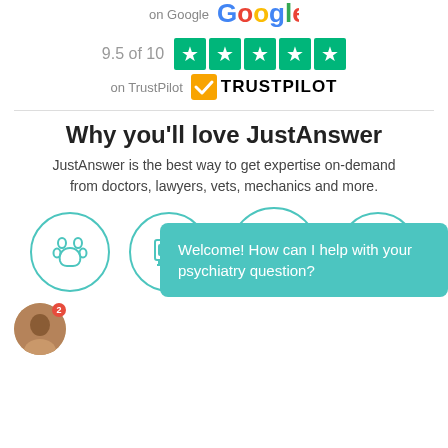[Figure (logo): Google logo with 'on Google' text above it]
[Figure (infographic): 9.5 of 10 rating with five green Trustpilot stars]
[Figure (logo): TrustPilot logo with checkmark]
Why you'll love JustAnswer
JustAnswer is the best way to get expertise on-demand from doctors, lawyers, vets, mechanics and more.
[Figure (illustration): Row of circular teal-outlined icons: paw print, ATM/money, gavel/legal, car]
Welcome! How can I help with your psychiatry question?